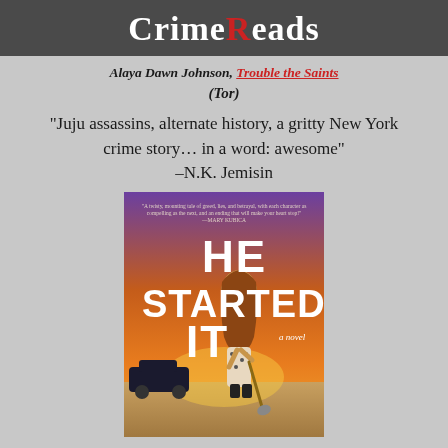CrimeReads
Alaya Dawn Johnson, Trouble the Saints (Tor)
“Juju assassins, alternate history, a gritty New York crime story… in a word: awesome” –N.K. Jemisin
[Figure (photo): Book cover of 'He Started It' — a novel: woman with long hair in a floral dress holding a shovel, standing near a car on a desert road at sunset, orange/purple sky]